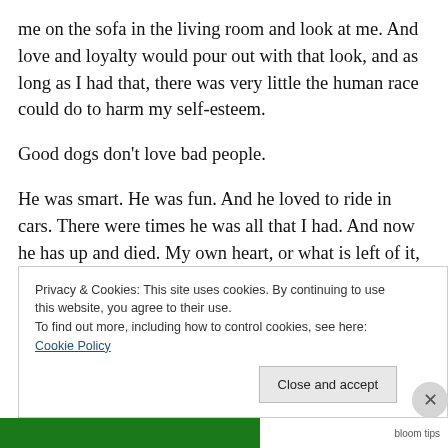me on the sofa in the living room and look at me. And love and loyalty would pour out with that look, and as long as I had that, there was very little the human race could do to harm my self-esteem.
Good dogs don't love bad people.
He was smart. He was fun. And he loved to ride in cars. There were times he was all that I had. And now he has up and died. My own heart, or what is left of it, is breaking.
Privacy & Cookies: This site uses cookies. By continuing to use this website, you agree to their use.
To find out more, including how to control cookies, see here: Cookie Policy